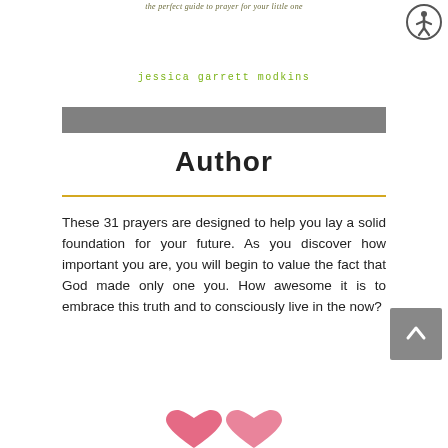the perfect guide to prayer for your little one
jessica garrett modkins
Author
These 31 prayers are designed to help you lay a solid foundation for your future. As you discover how important you are, you will begin to value the fact that God made only one you. How awesome it is to embrace this truth and to consciously live in the now?